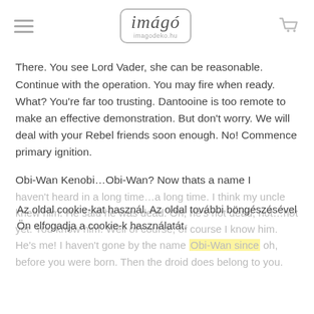imágó imagodeko.hu
There. You see Lord Vader, she can be reasonable. Continue with the operation. You may fire when ready. What? You're far too trusting. Dantooine is too remote to make an effective demonstration. But don't worry. We will deal with your Rebel friends soon enough. No! Commence primary ignition.
Obi-Wan Kenobi…Obi-Wan? Now thats a name I
haven't heard in a long time…a long time. I think my uncle knew him. He said he was dead. Oh, he's not dead, not…not yet. You know him. Well of course, of course I know him. He's me! I haven't gone by the name Obi-Wan since oh, before you were born. Then the droid does belong to you.
Az oldal cookie-kat használ. Az oldal további böngészésével Ön elfogadja a cookie-k használatát.